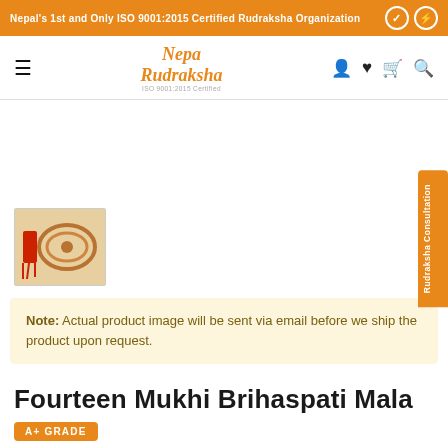Nepal's 1st and Only ISO 9001:2015 Certified Rudraksha Organization
[Figure (logo): Nepa Rudraksha logo with ISO 9001:2015 Certified text]
[Figure (photo): Thumbnail image of a rudraksha mala (bead necklace) with red tassel]
Note: Actual product image will be sent via email before we ship the product upon request.
Fourteen Mukhi Brihaspati Mala
A+ GRADE
$600.00 USD